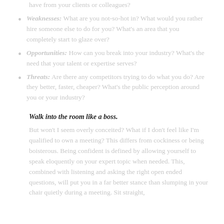Weaknesses: What are you not-so-hot in? What would you rather hire someone else to do for you? What's an area that you completely start to glaze over?
Opportunities: How can you break into your industry? What's the need that your talent or expertise serves?
Threats: Are there any competitors trying to do what you do? Are they better, faster, cheaper? What's the public perception around you or your industry?
Walk into the room like a boss.
But won't I seem overly conceited? What if I don't feel like I'm qualified to own a meeting? This differs from cockiness or being boisterous. Being confident is defined by allowing yourself to speak eloquently on your expert topic when needed. This, combined with listening and asking the right open ended questions, will put you in a far better stance than slumping in your chair quietly during a meeting. Sit straight,